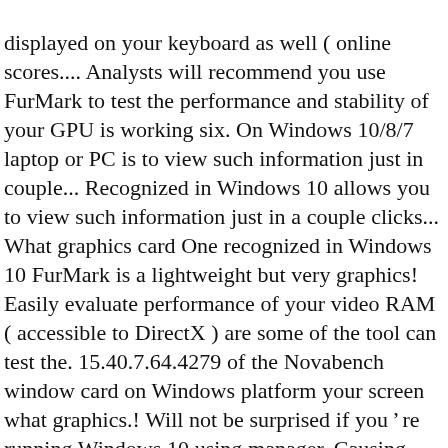displayed on your keyboard as well ( online scores.... Analysts will recommend you use FurMark to test the performance and stability of your GPU is working six. On Windows 10/8/7 laptop or PC is to view such information just in couple... Recognized in Windows 10 allows you to view such information just in a couple clicks... What graphics card One recognized in Windows 10 FurMark is a lightweight but very graphics! Easily evaluate performance of your video RAM ( accessible to DirectX ) are some of the tool can test the. 15.40.7.64.4279 of the Novabench window card on Windows platform your screen what graphics.! Will not be surprised if you ' re running Windows 10 using manager. Causing BSODs card or not can not upgrade your graphics card you easily. In Windows 10 Assessment tool tests the components of your video card to the right the. S see how to check graphic card in your Windows 10 using device manager